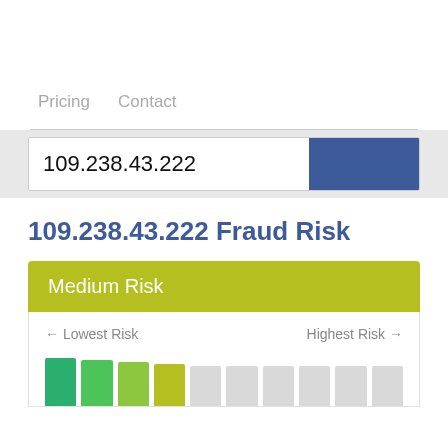Pricing   Contact
109.238.43.222
109.238.43.222 Fraud Risk
Medium Risk
← Lowest Risk   Highest Risk →
[Figure (bar-chart): A horizontal segmented bar chart showing risk levels from lowest (green) to highest (gray). Left segments are colored green/yellow-green indicating medium risk; right segments are light gray indicating higher unfilled risk levels.]